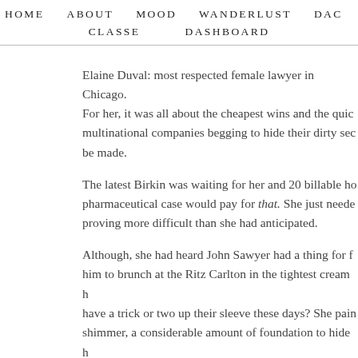HOME   ABOUT   MOOD   WANDERLUST   DAC
CLASSE   DASHBOARD
Elaine Duval: most respected female lawyer in Chicago. For her, it was all about the cheapest wins and the quickest multinational companies begging to hide their dirty secrets be made. The latest Birkin was waiting for her and 20 billable hours pharmaceutical case would pay for that. She just needed proving more difficult than she had anticipated. Although, she had heard John Sawyer had a thing for her him to brunch at the Ritz Carlton in the tightest cream have a trick or two up their sleeve these days? She painted shimmer, a considerable amount of foundation to hide tinted illuminator. Slipping on some nude Jimmy Choo mirror. She would do half the work and take twice the note of the MET Gala plus one entry she had been promised already had Chicago, maybe it was time to steal Hollywood.